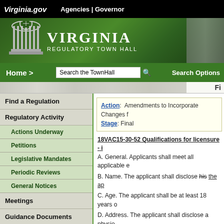Virginia.gov  Agencies | Governor
[Figure (logo): Virginia Regulatory Town Hall banner with green background, column logo, and white text reading VIRGINIA REGULATORY TOWN HALL]
Home >  Search the TownHall  Search Options
Fi... (Final)
Find a Regulation
Regulatory Activity
Actions Underway
Petitions
Legislative Mandates
Periodic Reviews
General Notices
Meetings
Guidance Documents
Action: Amendments to Incorporate Changes f... Stage: Final
18VAC15-30-52 Qualifications for licensure - i... A. General. Applicants shall meet all applicable e...
B. Name. The applicant shall disclose his the ap...
C. Age. The applicant shall be at least 18 years o...
D. Address. The applicant shall disclose a physio... a physical address is also provided.
E. Training. The applicant shall provide documen... approved initial training program and all subsequ... specified in subsection F of this section. Board-a... months after the last day of the month wherein c... shall be satisfactorily completed no later than 36...